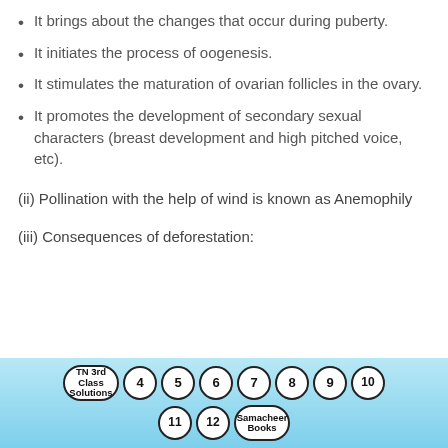It brings about the changes that occur during puberty.
It initiates the process of oogenesis.
It stimulates the maturation of ovarian follicles in the ovary.
It promotes the development of secondary sexual characters (breast development and high pitched voice, etc).
(ii) Pollination with the help of wind is known as Anemophily
(iii) Consequences of deforestation:
[Figure (infographic): Navigation bar with circular badges: TN 3rd Class Solutions, 4, 5, 6, 7, 8, 9, 10, 11, 12, Samacheer Books on a blue gradient background]